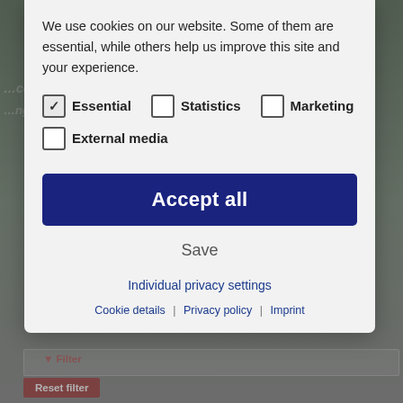[Figure (screenshot): Cookie consent modal dialog overlaid on a website page. The modal contains a description text, checkboxes for Essential (checked), Statistics (unchecked), Marketing (unchecked), External media (unchecked), an 'Accept all' button, a 'Save' button, an 'Individual privacy settings' link, and footer links for Cookie details, Privacy policy, and Imprint. Behind the modal, partial website content is visible including a 'Products' heading, a filter bar, and a 'Reset filter' button.]